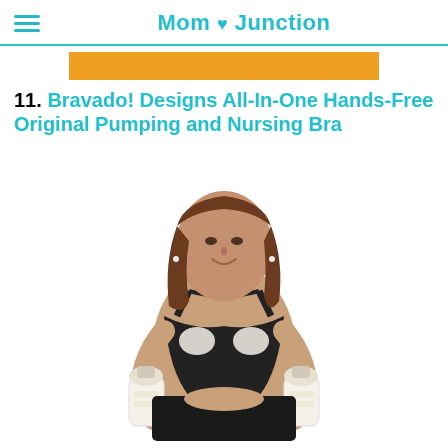Mom Junction
[Figure (other): Orange advertisement/banner bar]
11. Bravado! Designs All-In-One Hands-Free Original Pumping and Nursing Bra
[Figure (photo): Woman wearing a black Bravado! Designs All-In-One Hands-Free Original Pumping and Nursing Bra, holding breast pump bottles on each side, smiling at camera]